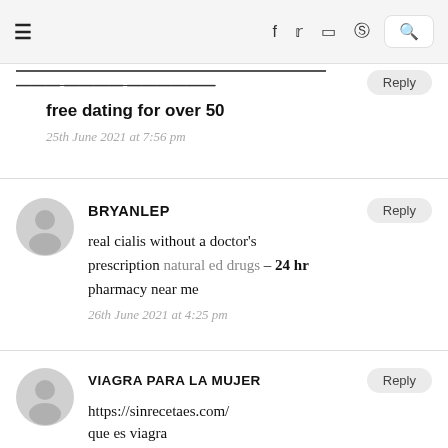≡  f  Twitter  Instagram  Pinterest  Search
free dating for over 50
25th June 2021 at 7:56 pm
BRYANLEP
real cialis without a doctor's prescription natural ed drugs – 24 hr pharmacy near me
26th June 2021 at 4:25 pm
VIAGRA PARA LA MUJER
https://sinrecetaes.com/
que es viagra